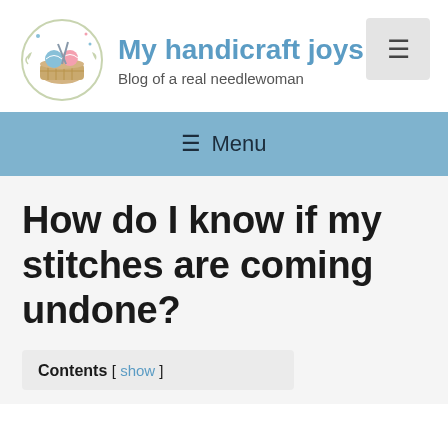My handicraft joys — Blog of a real needlewoman
≡ Menu
How do I know if my stitches are coming undone?
Contents [ show ]